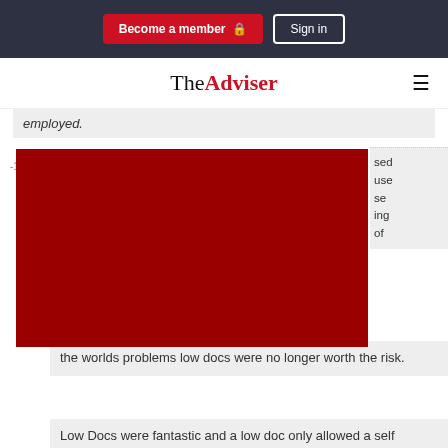Become a member | Sign in
[Figure (logo): TheAdviser logo with 'The' in black serif and 'Adviser' in red bold, plus hamburger menu icon]
employed.
[Figure (photo): Red/dark red rectangular image block covering the left portion of the comment section]
sed
use
se
ing
of
the worlds problems low docs were no longer worth the risk.
Low Docs were fantastic and a low doc only allowed a self employed person to compete with PAYG instead of waiting